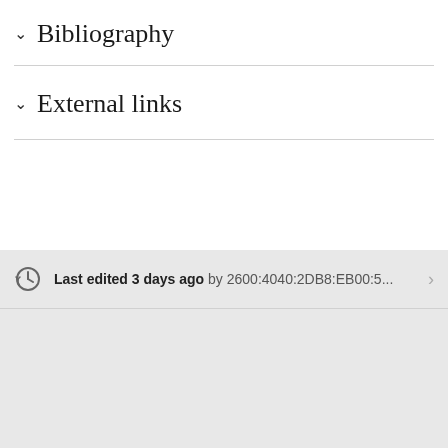Bibliography
External links
Last edited 3 days ago by 2600:4040:2DB8:EB00:5...